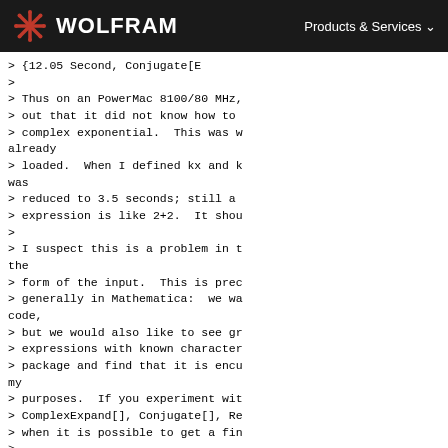WOLFRAM | Products & Services
> {12.05 Second, Conjugate[E
>
> Thus on an PowerMac 8100/80 MHz,
> out that it did not know how to
> complex exponential.  This was w
already
> loaded.  When I defined kx and k
was
> reduced to 3.5 seconds; still a
> expression is like 2+2.  It shou
>
> I suspect this is a problem in t
the
> form of the input.  This is prec
> generally in Mathematica:  we wa
code,
> but we would also like to see gr
> expressions with known character
> package and find that it is encu
my
> purposes.  If you experiment wit
> ComplexExpand[], Conjugate[], Re
> when it is possible to get a fin
>
Regarding the handling of Conju
it takes so long is a bug, correct
and will be quite fast.  Note that